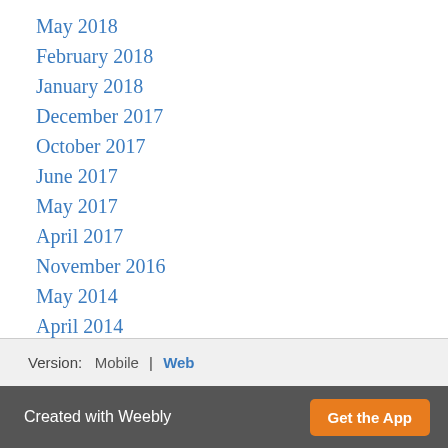May 2018
February 2018
January 2018
December 2017
October 2017
June 2017
May 2017
April 2017
November 2016
May 2014
April 2014
Categories
All
RSS Feed
Version:   Mobile | Web
Created with Weebly